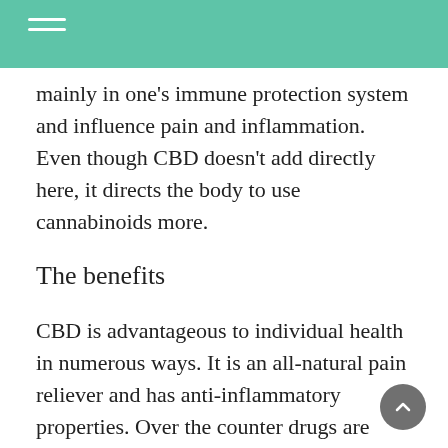mainly in one's immune protection system and influence pain and inflammation. Even though CBD doesn't add directly here, it directs the body to use cannabinoids more.
The benefits
CBD is advantageous to individual health in numerous ways. It is an all-natural pain reliever and has anti-inflammatory properties. Over the counter drugs are used for pain relief and a lot of people choose a more natural alternative and that is wherever CBD fat comes in.